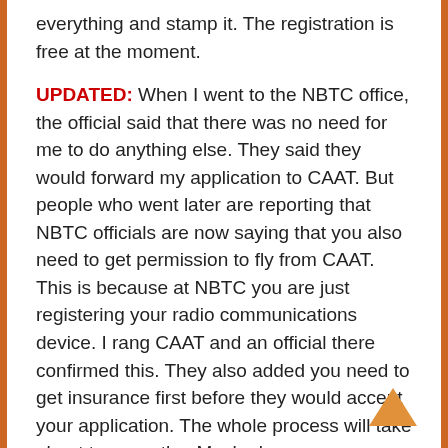everything and stamp it. The registration is free at the moment.
UPDATED: When I went to the NBTC office, the official said that there was no need for me to do anything else. They said they would forward my application to CAAT. But people who went later are reporting that NBTC officials are now saying that you also need to get permission to fly from CAAT. This is because at NBTC you are just registering your radio communications device. I rang CAAT and an official there confirmed this. They also added you need to get insurance first before they would accept your application. The whole process will take about two months. Maybe longer now as over 1,300 drones were registered at NBTC in the first week alone. Some people in the comments below have said that after they registered with CAAT, they were told that they would pass on their registration to NBTC. So, no